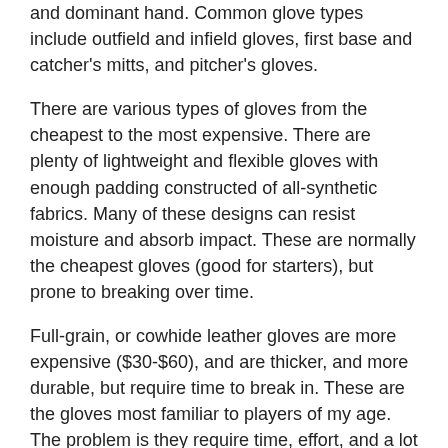and dominant hand. Common glove types include outfield and infield gloves, first base and catcher's mitts, and pitcher's gloves.
There are various types of gloves from the cheapest to the most expensive. There are plenty of lightweight and flexible gloves with enough padding constructed of all-synthetic fabrics. Many of these designs can resist moisture and absorb impact. These are normally the cheapest gloves (good for starters), but prone to breaking over time.
Full-grain, or cowhide leather gloves are more expensive ($30-$60), and are thicker, and more durable, but require time to break in. These are the gloves most familiar to players of my age. The problem is they require time, effort, and a lot of glove oil to break them in, molding them to your hand, and your play.
There are more expensive choices like steer hide leather gloves ($75-$300), that are even more durable and the choice of many amateurs, as well as professional players. Finally, another high-end